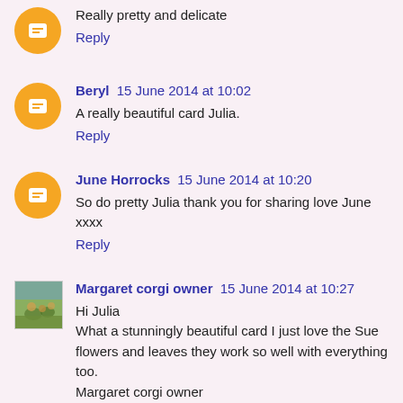Really pretty and delicate
Reply
Beryl  15 June 2014 at 10:02
A really beautiful card Julia.
Reply
June Horrocks  15 June 2014 at 10:20
So do pretty Julia thank you for sharing love June xxxx
Reply
Margaret corgi owner  15 June 2014 at 10:27
Hi Julia
What a stunningly beautiful card I just love the Sue flowers and leaves they work so well with everything too.
Margaret corgi owner